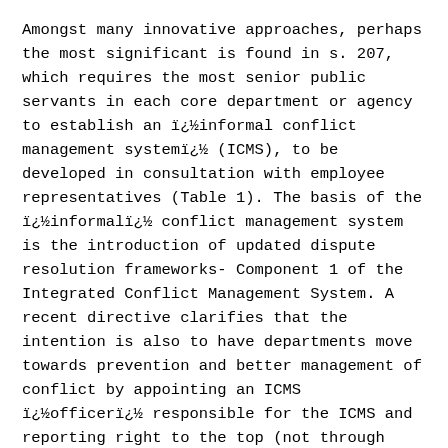Amongst many innovative approaches, perhaps the most significant is found in s. 207, which requires the most senior public servants in each core department or agency to establish an ï¿½informal conflict management systemï¿½ (ICMS), to be developed in consultation with employee representatives (Table 1). The basis of the ï¿½informalï¿½ conflict management system is the introduction of updated dispute resolution frameworks- Component 1 of the Integrated Conflict Management System. A recent directive clarifies that the intention is also to have departments move towards prevention and better management of conflict by appointing an ICMS ï¿½officerï¿½ responsible for the ICMS and reporting right to the top (not through levels of e.g. human resources or the legal department).
The intent goes further than...